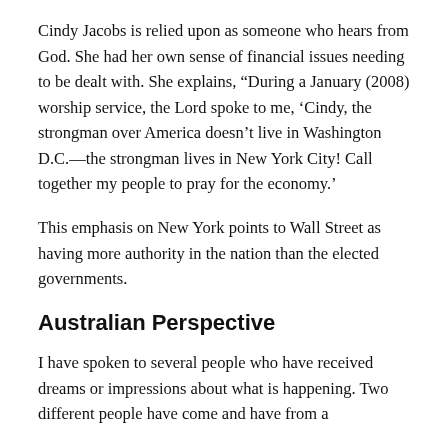Cindy Jacobs is relied upon as someone who hears from God. She had her own sense of financial issues needing to be dealt with. She explains, “During a January (2008) worship service, the Lord spoke to me, ‘Cindy, the strongman over America doesn’t live in Washington D.C.—the strongman lives in New York City! Call together my people to pray for the economy.’
This emphasis on New York points to Wall Street as having more authority in the nation than the elected governments.
Australian Perspective
I have spoken to several people who have received dreams or impressions about what is happening. Two different people have come and have from a...